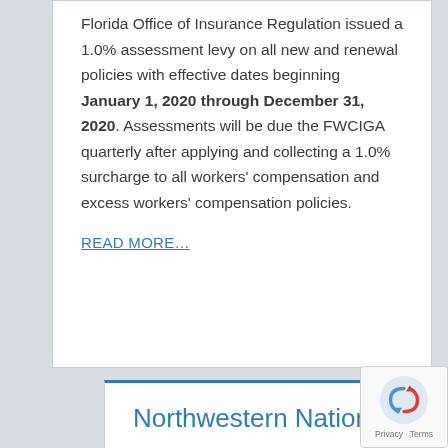Florida Office of Insurance Regulation issued a 1.0% assessment levy on all new and renewal policies with effective dates beginning January 1, 2020 through December 31, 2020. Assessments will be due the FWCIGA quarterly after applying and collecting a 1.0% surcharge to all workers' compensation and excess workers' compensation policies.
READ MORE...
Northwestern National